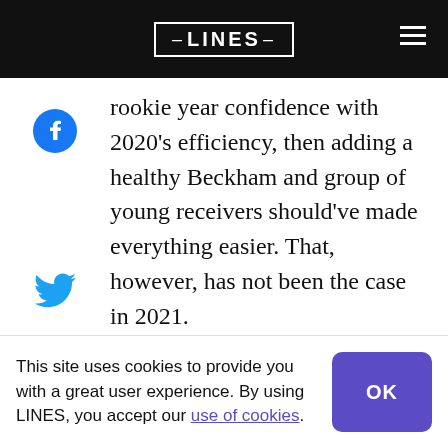LINES
rookie year confidence with 2020's efficiency, then adding a healthy Beckham and group of young receivers should've made everything easier. That, however, has not been the case in 2021.
MAYFIELD BY THE NUMBERS
Mayfield vacillates between being an average to good quarterback by most
This site uses cookies to provide you with a great user experience. By using LINES, you accept our use of cookies.